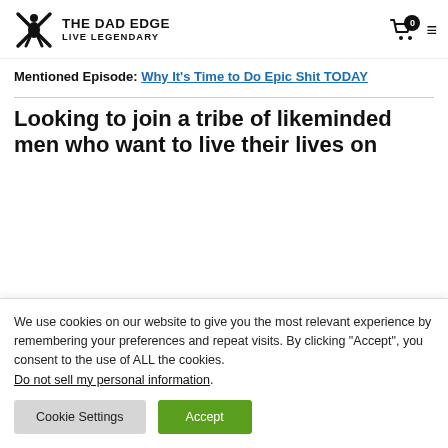THE DAD EDGE LIVE LEGENDARY
Mentioned Episode: Why It's Time to Do Epic Shit TODAY
Looking to join a tribe of likeminded men who want to live their lives on
We use cookies on our website to give you the most relevant experience by remembering your preferences and repeat visits. By clicking “Accept”, you consent to the use of ALL the cookies. Do not sell my personal information.
Cookie Settings | Accept